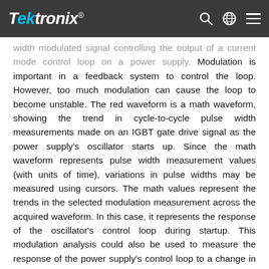Tektronix
width modulated signal controlling the output of a current mode control loop on a power supply. Modulation is important in a feedback system to control the loop. However, too much modulation can cause the loop to become unstable. The red waveform is a math waveform, showing the trend in cycle-to-cycle pulse width measurements made on an IGBT gate drive signal as the power supply’s oscillator starts up. Since the math waveform represents pulse width measurement values (with units of time), variations in pulse widths may be measured using cursors. The math values represent the trends in the selected modulation measurement across the acquired waveform. In this case, it represents the response of the oscillator’s control loop during startup. This modulation analysis could also be used to measure the response of the power supply’s control loop to a change in input voltage (“line regulation”) or a change